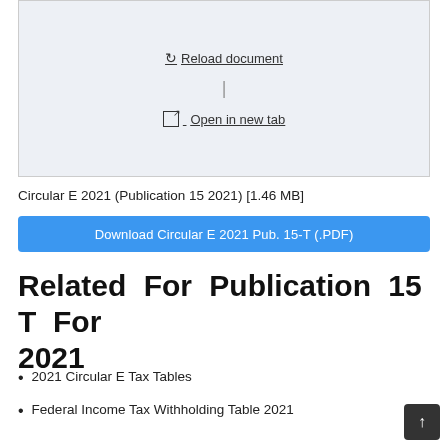[Figure (screenshot): Document preview box with light blue-gray background containing 'Reload document' link, a vertical divider, and 'Open in new tab' link with external icon]
Circular E 2021 (Publication 15 2021) [1.46 MB]
Download Circular E 2021 Pub. 15-T (.PDF)
Related For Publication 15 T For 2021
2021 Circular E Tax Tables
Federal Income Tax Withholding Table 2021